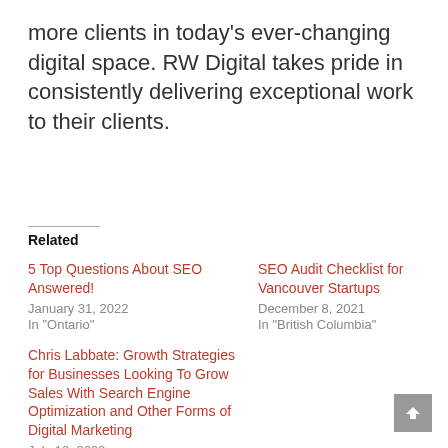more clients in today's ever-changing digital space. RW Digital takes pride in consistently delivering exceptional work to their clients.
Related
5 Top Questions About SEO Answered!
January 31, 2022
In "Ontario"
SEO Audit Checklist for Vancouver Startups
December 8, 2021
In "British Columbia"
Chris Labbate: Growth Strategies for Businesses Looking To Grow Sales With Search Engine Optimization and Other Forms of Digital Marketing
July 10, 2022
In "Interviews"